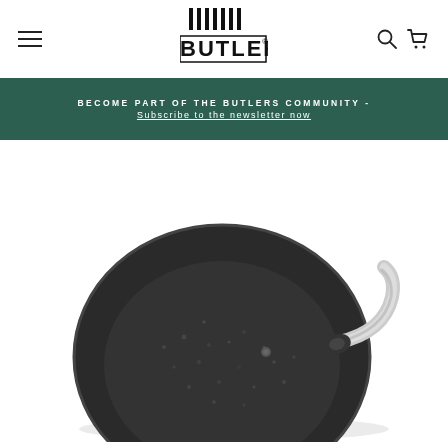[Figure (logo): BUTLERS brand logo with vertical bars above the text]
BECOME PART OF THE BUTLERS COMMUNITY - Subscribe to the newsletter now
[Figure (photo): A dark grey/black non-stick frying pan with a speckled stone-effect interior and a silver/stainless steel handle, viewed from a slight angle above]